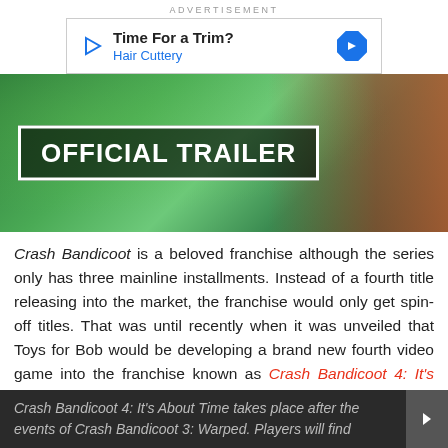ADVERTISEMENT
[Figure (other): Advertisement banner: 'Time For a Trim? Hair Cuttery' with play icon on left and navigation arrow icon on right]
[Figure (screenshot): Official Trailer banner image for Crash Bandicoot 4 with jungle/colorful background and white-bordered 'OFFICIAL TRAILER' text overlay]
Crash Bandicoot is a beloved franchise although the series only has three mainline installments. Instead of a fourth title releasing into the market, the franchise would only get spin-off titles. That was until recently when it was unveiled that Toys for Bob would be developing a brand new fourth video game into the franchise known as Crash Bandicoot 4: It's About Time. The title has its first gameplay trailer available and a release date attached as well.
Crash Bandicoot 4: It's About Time takes place after the events of Crash Bandicoot 3: Warped. Players will find